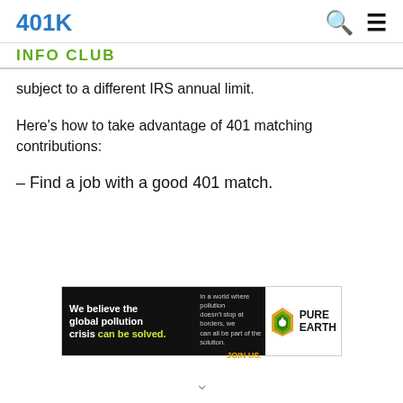401K
INFO CLUB
subject to a different IRS annual limit.
Here’s how to take advantage of 401 matching contributions:
– Find a job with a good 401 match.
[Figure (other): Pure Earth advertisement banner: 'We believe the global pollution crisis can be solved. In a world where pollution doesn't stop at borders, we can all be part of the solution. JOIN US.' with Pure Earth logo.]